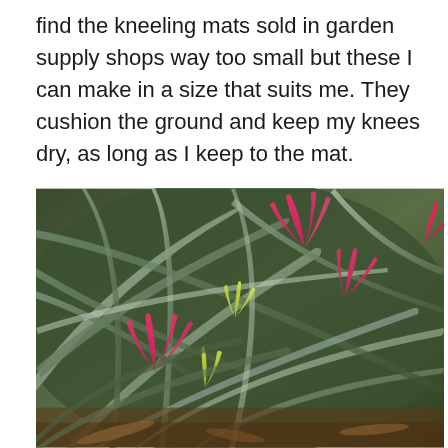find the kneeling mats sold in garden supply shops way too small but these I can make in a size that suits me. They cushion the ground and keep my knees dry, as long as I keep to the mat.
[Figure (photo): Close-up photograph of garden plants with long green and grey-green strappy leaves, with bright pink and yellow-green flowers (appears to be a Billbergia or similar bromeliad) growing densely together.]